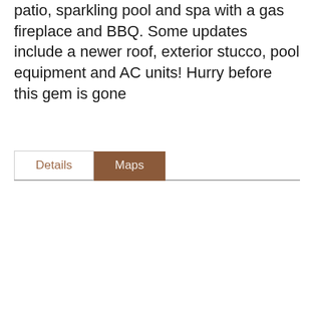patio, sparkling pool and spa with a gas fireplace and BBQ. Some updates include a newer roof, exterior stucco, pool equipment and AC units! Hurry before this gem is gone
Details | Maps (tabs)
| Contract Information |
| --- |
| Status Change Date: 2019-11-21 |
| Sold Price: $900,000 |
| Status: Closed |
| Current Price: $900,000 |
| List Date: 2019-11-05 |
| Type: ER |